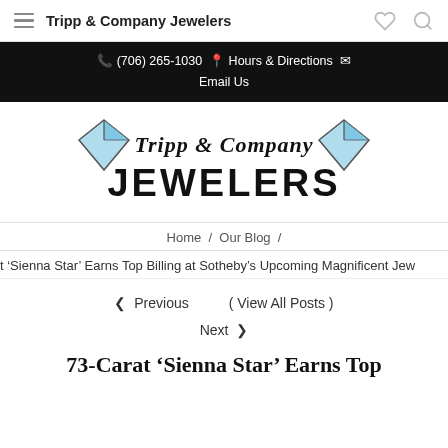Tripp & Company Jewelers
(706) 265-1030  Hours & Directions  Email Us
[Figure (logo): Tripp & Company Jewelers logo with diamond icons and stylized text]
Home / Our Blog /
t 'Sienna Star' Earns Top Billing at Sotheby's Upcoming Magnificent Jew
❮ Previous   ( View All Posts )   Next ❯
73-Carat 'Sienna Star' Earns Top